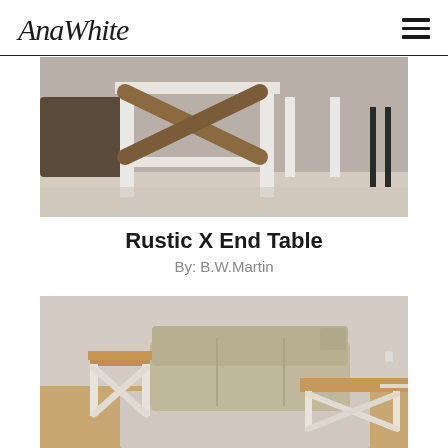AnaWhite
[Figure (photo): Close-up photo of a rustic X end table with white painted frame and natural wood X cross members, viewed from below/side angle showing construction details, with dark sofa visible in background]
Rustic X End Table
By: B.W.Martin
[Figure (photo): Living room scene showing a farmhouse-style end table and coffee table set with white X-frame bases and natural wood tops, beside a beige sectional sofa on hardwood floors]